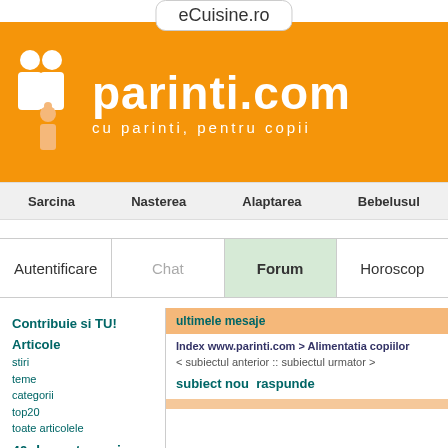eCuisine.ro
[Figure (logo): parinti.com logo with orange background, white family icons, text 'parinti.com' and subtitle 'cu parinti, pentru copii']
Sarcina  Nasterea  Alaptarea  Bebelusul
Autentificare  Chat  Forum  Horoscop
Contribuie si TU!
Articole
stiri
teme
categorii
top20
toate articolele
40 de saptamani
ultimele mesaje
Index www.parinti.com > Alimentatia copiilor
< subiectul anterior :: subiectul urmator >
subiect nou  raspunde